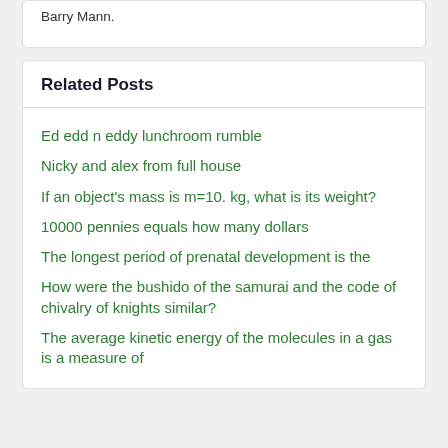Barry Mann.
Related Posts
Ed edd n eddy lunchroom rumble
Nicky and alex from full house
If an object's mass is m=10. kg, what is its weight?
10000 pennies equals how many dollars
The longest period of prenatal development is the
How were the bushido of the samurai and the code of chivalry of knights similar?
The average kinetic energy of the molecules in a gas is a measure of